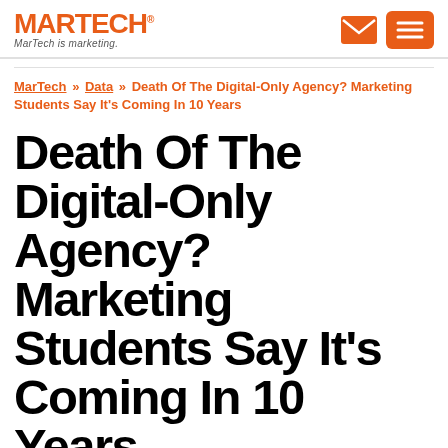MARTECH — MarTech is marketing.
MarTech » Data » Death Of The Digital-Only Agency? Marketing Students Say It's Coming In 10 Years
Death Of The Digital-Only Agency? Marketing Students Say It's Coming In 10 Years
If you run a standalone digital agency or